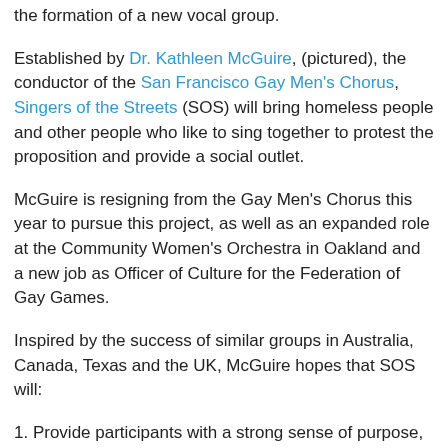the formation of a new vocal group.
Established by Dr. Kathleen McGuire, (pictured), the conductor of the San Francisco Gay Men's Chorus, Singers of the Streets (SOS) will bring homeless people and other people who like to sing together to protest the proposition and provide a social outlet.
McGuire is resigning from the Gay Men's Chorus this year to pursue this project, as well as an expanded role at the Community Women's Orchestra in Oakland and a new job as Officer of Culture for the Federation of Gay Games.
Inspired by the success of similar groups in Australia, Canada, Texas and the UK, McGuire hopes that SOS will:
1. Provide participants with a strong sense of purpose, achievement, team-building, socialization, community, and family.
2. Build participants' self-esteem, self-worth and self-respect via audience appreciation.